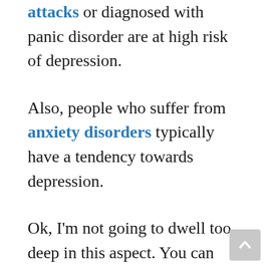attacks or diagnosed with panic disorder are at high risk of depression.
Also, people who suffer from anxiety disorders typically have a tendency towards depression.
Ok, I'm not going to dwell too deep in this aspect. You can google it online if you want or feel the need to. Because that's not the purpose of this article.
The reason I put together the list of symptoms above is to give you a better